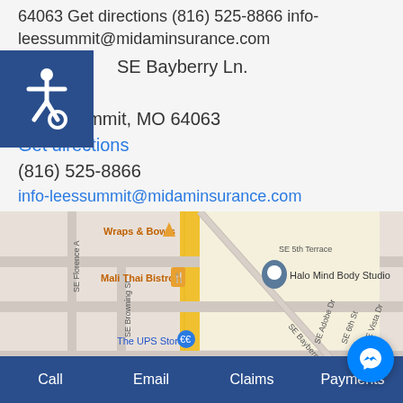64063 Get directions (816) 525-8866 info-leessummit@midaminsurance.com
SE Bayberry Ln.
Suite 105
Lee's Summit, MO 64063
Get directions
(816) 525-8866
info-leessummit@midaminsurance.com
[Figure (map): Google Maps screenshot showing SE Bayberry Ln area in Lee's Summit, MO with nearby businesses: Wraps & Bowls, Mali Thai Bistro, Halo Mind Body Studio, The UPS Store. Streets visible: SE 5th Terrace, SE Florence Ave, SE Browning St, SE Adobe Dr, SE 6th St, SE Vista Dr, SE 7th St.]
Springfield, MO
Call  Email  Claims  Payments